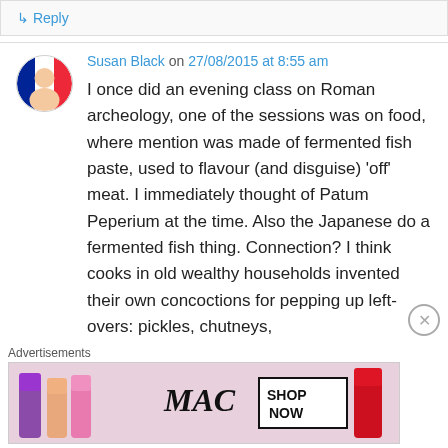↳ Reply
Susan Black on 27/08/2015 at 8:55 am
I once did an evening class on Roman archeology, one of the sessions was on food, where mention was made of fermented fish paste, used to flavour (and disguise) 'off' meat. I immediately thought of Patum Peperium at the time. Also the Japanese do a fermented fish thing. Connection? I think cooks in old wealthy households invented their own concoctions for pepping up left-overs: pickles, chutneys,
Advertisements
[Figure (photo): MAC cosmetics advertisement showing lipsticks in purple, peach, and pink colors with MAC logo and SHOP NOW button]